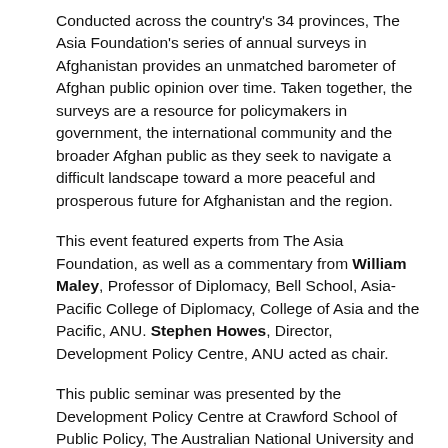Conducted across the country's 34 provinces, The Asia Foundation's series of annual surveys in Afghanistan provides an unmatched barometer of Afghan public opinion over time. Taken together, the surveys are a resource for policymakers in government, the international community and the broader Afghan public as they seek to navigate a difficult landscape toward a more peaceful and prosperous future for Afghanistan and the region.
This event featured experts from The Asia Foundation, as well as a commentary from William Maley, Professor of Diplomacy, Bell School, Asia-Pacific College of Diplomacy, College of Asia and the Pacific, ANU. Stephen Howes, Director, Development Policy Centre, ANU acted as chair.
This public seminar was presented by the Development Policy Centre at Crawford School of Public Policy, The Australian National University and The Asia Foundation.